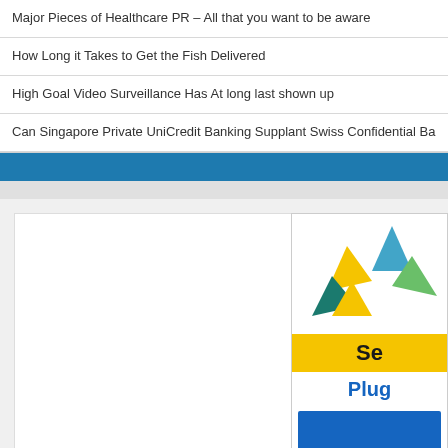Major Pieces of Healthcare PR – All that you want to be aware
How Long it Takes to Get the Fish Delivered
High Goal Video Surveillance Has At long last shown up
Can Singapore Private UniCredit Banking Supplant Swiss Confidential Ba
[Figure (screenshot): Blue horizontal navigation bar]